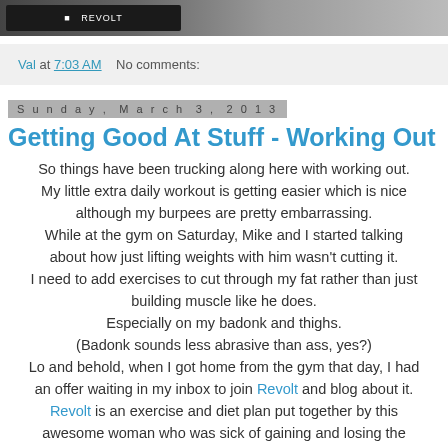[Figure (photo): Top banner image, dark/gray gradient with a black rectangular element, partial blog header image]
Val at 7:03 AM    No comments:
Sunday, March 3, 2013
Getting Good At Stuff - Working Out
So things have been trucking along here with working out. My little extra daily workout is getting easier which is nice although my burpees are pretty embarrassing. While at the gym on Saturday, Mike and I started talking about how just lifting weights with him wasn't cutting it. I need to add exercises to cut through my fat rather than just building muscle like he does. Especially on my badonk and thighs. (Badonk sounds less abrasive than ass, yes?) Lo and behold, when I got home from the gym that day, I had an offer waiting in my inbox to join Revolt and blog about it. Revolt is an exercise and diet plan put together by this awesome woman who was sick of gaining and losing the